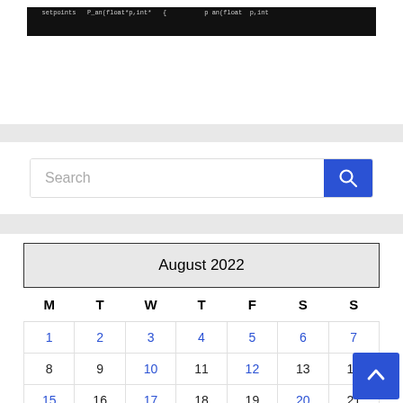[Figure (screenshot): Dark banner showing code/programming text in monospace font on black background]
[Figure (screenshot): Search bar with placeholder text 'Search' and a blue search button with magnifying glass icon]
| M | T | W | T | F | S | S |
| --- | --- | --- | --- | --- | --- | --- |
| 1 | 2 | 3 | 4 | 5 | 6 | 7 |
| 8 | 9 | 10 | 11 | 12 | 13 | 14 |
| 15 | 16 | 17 | 18 | 19 | 20 | 21 |
| 22 | 23 | 24 | 25 | 26 | 27 | 28 |